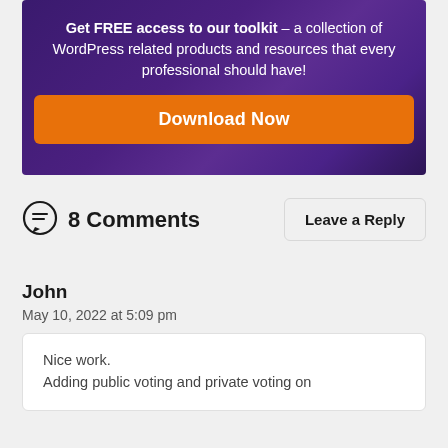[Figure (other): Dark purple banner with call-to-action text and orange Download Now button]
8 Comments
Leave a Reply
John
May 10, 2022 at 5:09 pm
Nice work.
Adding public voting and private voting on